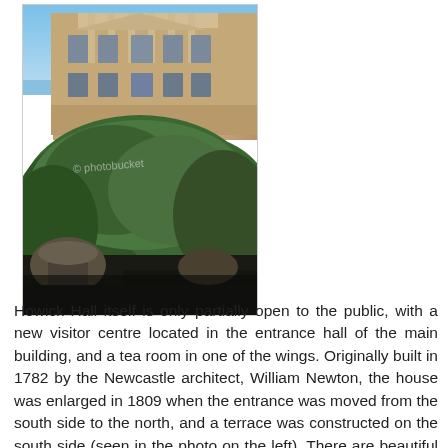[Figure (photo): Photograph of Howick Hall showing the neoclassical stone facade of the building with columns and large windows, with garden urns and dense green shrubs in the foreground, blue sky visible. A watermark reads 'photobucket'.]
Howick Hall itself is only partially open to the public, with a new visitor centre located in the entrance hall of the main building, and a tea room in one of the wings. Originally built in 1782 by the Newcastle architect, William Newton, the house was enlarged in 1809 when the entrance was moved from the south side to the north, and a terrace was constructed on the south side (seen in the photo on the left). There are beautiful views from the